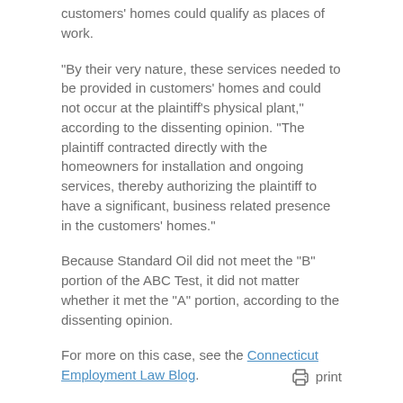customers' homes could qualify as places of work.
“By their very nature, these services needed to be provided in customers’ homes and could not occur at the plaintiff’s physical plant,” according to the dissenting opinion. “The plaintiff contracted directly with the homeowners for installation and ongoing services, thereby authorizing the plaintiff to have a significant, business related presence in the customers’ homes.”
Because Standard Oil did not meet the “B” portion of the ABC Test, it did not matter whether it met the “A” portion, according to the dissenting opinion.
For more on this case, see the Connecticut Employment Law Blog.
print